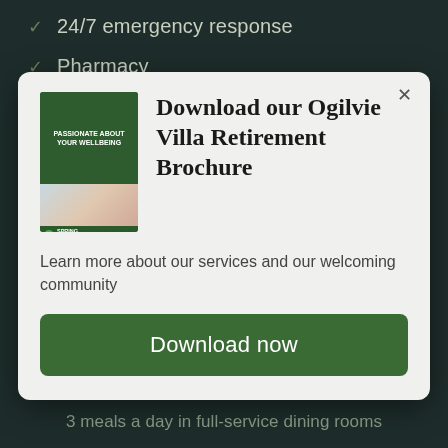24/7 emergency response
Pharmacy
[Figure (screenshot): Modal popup dialog with brochure thumbnail, title 'Download our Ogilvie Villa Retirement Brochure', description text, and a green Download now button]
3 meals a day in full-service dining rooms